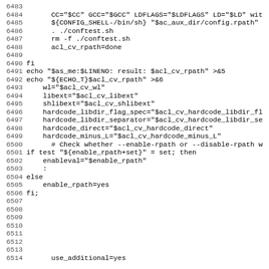6483-6514: shell script code snippet showing CC, GCC, LDFLAGS, LD assignments, config.rpath invocation, conftest.sh usage, acl_cv_rpath variable assignments, hardcode flags, enable_rpath conditional, and use_additional=yes